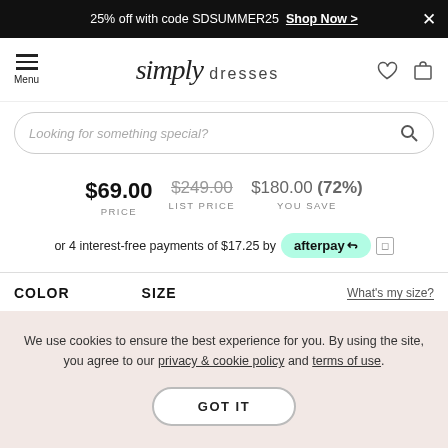25% off with code SDSUMMER25  Shop Now >  ×
[Figure (logo): Simply Dresses logo with hamburger menu, heart icon, and bag icon in navigation bar]
Looking for something special?
$69.00 PRICE  $249.00 LIST PRICE  $180.00 (72%) YOU SAVE
or 4 interest-free payments of $17.25 by afterpay ℹ
COLOR  SIZE  What's my size?
We use cookies to ensure the best experience for you. By using the site, you agree to our privacy & cookie policy and terms of use.
GOT IT